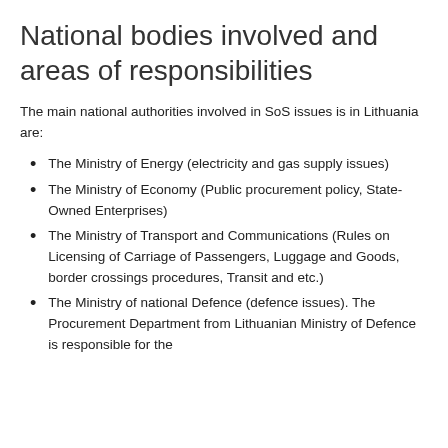National bodies involved and areas of responsibilities
The main national authorities involved in SoS issues is in Lithuania are:
The Ministry of Energy (electricity and gas supply issues)
The Ministry of Economy (Public procurement policy, State-Owned Enterprises)
The Ministry of Transport and Communications (Rules on Licensing of Carriage of Passengers, Luggage and Goods, border crossings procedures, Transit and etc.)
The Ministry of national Defence (defence issues). The Procurement Department from Lithuanian Ministry of Defence is responsible for the